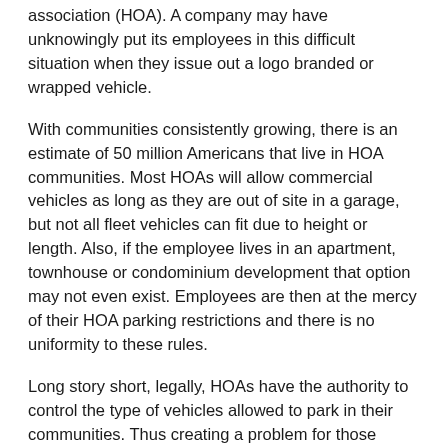association (HOA). A company may have unknowingly put its employees in this difficult situation when they issue out a logo branded or wrapped vehicle.
With communities consistently growing, there is an estimate of 50 million Americans that live in HOA communities. Most HOAs will allow commercial vehicles as long as they are out of site in a garage, but not all fleet vehicles can fit due to height or length. Also, if the employee lives in an apartment, townhouse or condominium development that option may not even exist. Employees are then at the mercy of their HOA parking restrictions and there is no uniformity to these rules.
Long story short, legally, HOAs have the authority to control the type of vehicles allowed to park in their communities. Thus creating a problem for those residents whose primary transportation is a company issued vehicle or work truck. The common response is that these HOA conditions and restrictions were laid out in documents before the purchase or lease of the property or community and should have been addressed then.